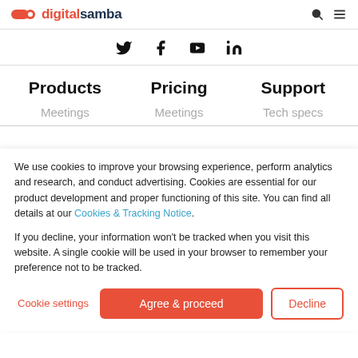digitalsamba
[Figure (illustration): Social media icons: Twitter, Facebook, YouTube, LinkedIn]
Products
Pricing
Support
Meetings
Meetings
Tech specs
We use cookies to improve your browsing experience, perform analytics and research, and conduct advertising. Cookies are essential for our product development and proper functioning of this site. You can find all details at our Cookies & Tracking Notice.
If you decline, your information won't be tracked when you visit this website. A single cookie will be used in your browser to remember your preference not to be tracked.
Cookie settings | Agree & proceed | Decline